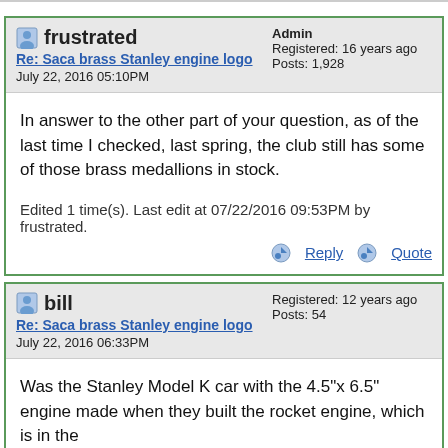frustrated — Admin, Registered: 16 years ago, Posts: 1,928 — Re: Saca brass Stanley engine logo — July 22, 2016 05:10PM
In answer to the other part of your question, as of the last time I checked, last spring, the club still has some of those brass medallions in stock.
Edited 1 time(s). Last edit at 07/22/2016 09:53PM by frustrated.
bill — Registered: 12 years ago, Posts: 54 — Re: Saca brass Stanley engine logo — July 22, 2016 06:33PM
Was the Stanley Model K car with the 4.5"x 6.5" engine made when they built the rocket engine, which is in the